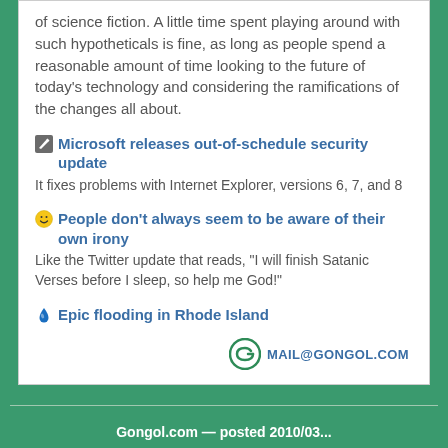of science fiction. A little time spent playing around with such hypotheticals is fine, as long as people spend a reasonable amount of time looking to the future of today's technology and considering the ramifications of the changes all about.
Microsoft releases out-of-schedule security update — It fixes problems with Internet Explorer, versions 6, 7, and 8
People don't always seem to be aware of their own irony — Like the Twitter update that reads, "I will finish Satanic Verses before I sleep, so help me God!"
Epic flooding in Rhode Island
MAIL@GONGOL.COM
Gongol.com — posted 2010/03...